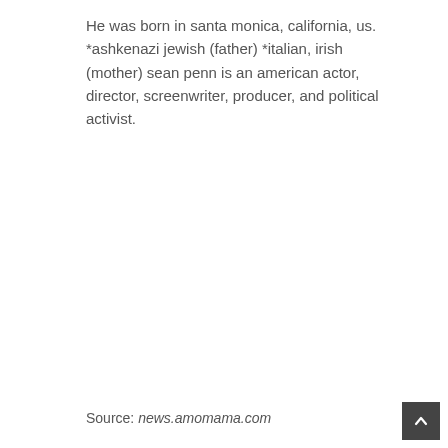He was born in santa monica, california, us. *ashkenazi jewish (father) *italian, irish (mother) sean penn is an american actor, director, screenwriter, producer, and political activist.
Source: news.amomama.com